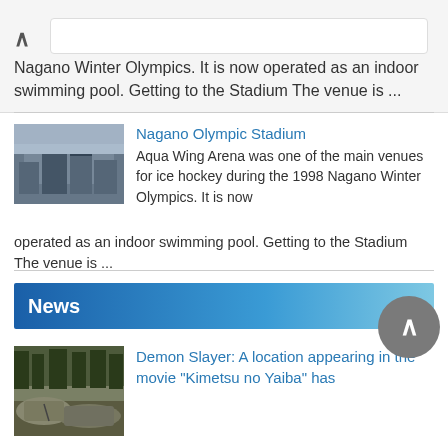Nagano Winter Olympics. It is now operated as an indoor swimming pool. Getting to the Stadium The venue is ...
[Figure (photo): Thumbnail image of Nagano Olympic Stadium building exterior, grey overcast sky]
Nagano Olympic Stadium
Aqua Wing Arena was one of the main venues for ice hockey during the 1998 Nagano Winter Olympics. It is now operated as an indoor swimming pool. Getting to the Stadium The venue is ...
News
[Figure (photo): Thumbnail image of a rocky outdoor location with cracked stones, forest in background]
Demon Slayer: A location appearing in the movie "Kimetsu no Yaiba" has